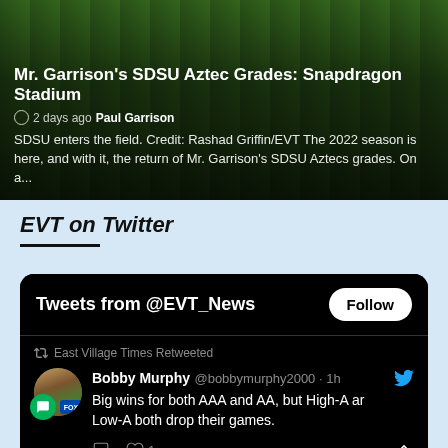[Figure (screenshot): Article card with football players on field at Snapdragon Stadium, dark overlay with article title and text]
Mr. Garrison's SDSU Aztec Grades: Snapdragon Stadium
2 days ago Paul Garrison
SDSU enters the field. Credit: Rashad Griffin/EVT The 2022 season is here, and with it, the return of Mr. Garrison's SDSU Aztecs grades. On a...
EVT on Twitter
[Figure (screenshot): Twitter widget showing Tweets from @EVT_News with a Follow button, a retweet from East Village Times of Bobby Murphy @bobbymurphy2000 saying Big wins for both AAA and AA, but High-A and Low-A both drop their games, with 1 like.]